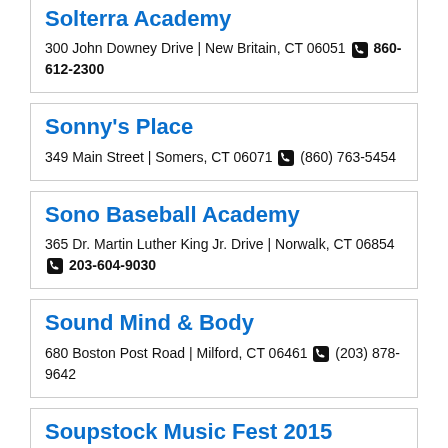Solterra Academy
300 John Downey Drive | New Britain, CT 06051 📞 860-612-2300
Sonny's Place
349 Main Street | Somers, CT 06071 📞 (860) 763-5454
Sono Baseball Academy
365 Dr. Martin Luther King Jr. Drive | Norwalk, CT 06854 📞 203-604-9030
Sound Mind & Body
680 Boston Post Road | Milford, CT 06461 📞 (203) 878-9642
Soupstock Music Fest 2015